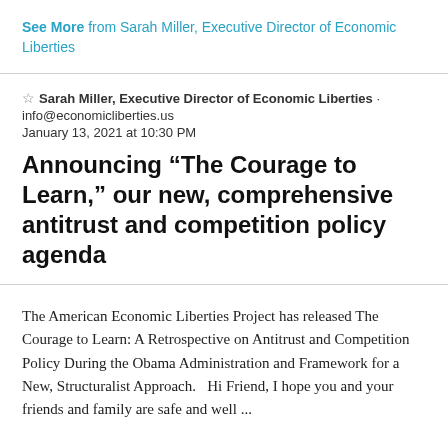See More from Sarah Miller, Executive Director of Economic Liberties
☆ Sarah Miller, Executive Director of Economic Liberties · info@economicliberties.us January 13, 2021 at 10:30 PM
Announcing “The Courage to Learn,” our new, comprehensive antitrust and competition policy agenda
The American Economic Liberties Project has released The Courage to Learn: A Retrospective on Antitrust and Competition Policy During the Obama Administration and Framework for a New, Structuralist Approach.    Hi Friend, I hope you and your friends and family are safe and well ...